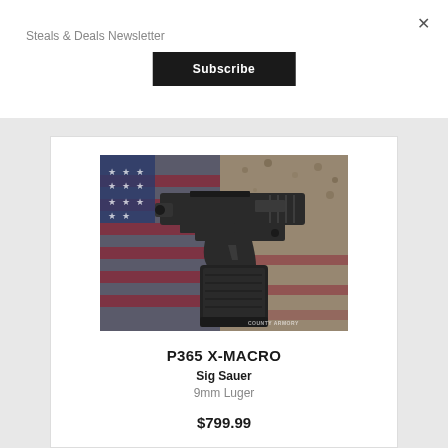Steals & Deals Newsletter
Subscribe
[Figure (photo): SIG Sauer P365 X-MACRO pistol in black, displayed on an American flag background with weathered texture. Watermark reads COUNTY ARMORY.]
P365 X-MACRO
Sig Sauer
9mm Luger
$799.99